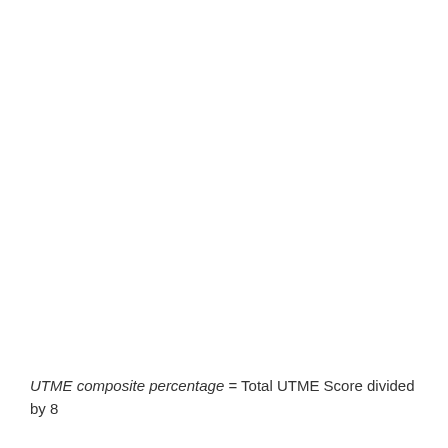UTME composite percentage = Total UTME Score divided by 8